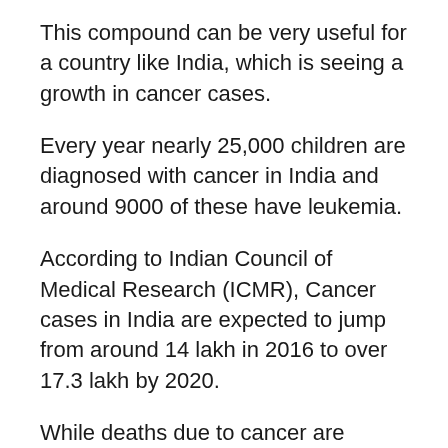This compound can be very useful for a country like India, which is seeing a growth in cancer cases.
Every year nearly 25,000 children are diagnosed with cancer in India and around 9000 of these have leukemia.
According to Indian Council of Medical Research (ICMR), Cancer cases in India are expected to jump from around 14 lakh in 2016 to over 17.3 lakh by 2020.
While deaths due to cancer are projected to go up from 7.36 lakh to over 8.8 lakh in the next four years.
Talking about the research this compound